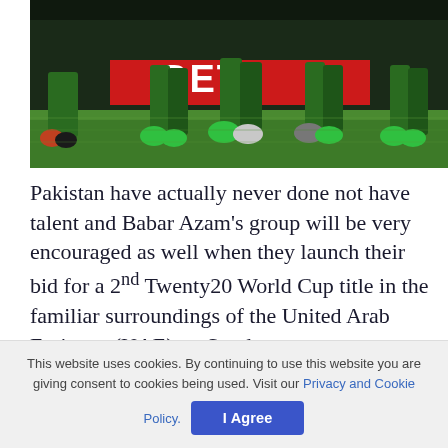[Figure (photo): Cricket players in green Pakistan uniforms crouching/fielding on a grass pitch, showing legs and shoes from mid-body down, with a red advertising hoarding visible in the background reading 'BET']
Pakistan have actually never done not have talent and Babar Azam's group will be very encouraged as well when they launch their bid for a 2nd Twenty20 World Cup title in the familiar surroundings of the United Arab Emirates (UAE) on Sunday.
RELATED POSTS
This website uses cookies. By continuing to use this website you are giving consent to cookies being used. Visit our Privacy and Cookie Policy.
I Agree